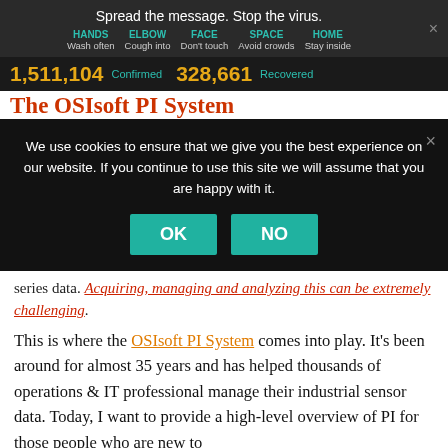Spread the message. Stop the virus.
HANDS Wash often | ELBOW Cough into | FACE Don't touch | SPACE Avoid crowds | HOME Stay inside
1,511,104 Confirmed   328,661 Recovered
The OSIsoft PI System
We use cookies to ensure that we give you the best experience on our website. If you continue to use this site we will assume that you are happy with it.
OK   NO
series data. Acquiring, managing and analyzing this can be extremely challenging.
This is where the OSIsoft PI System comes into play. It's been around for almost 35 years and has helped thousands of operations & IT professional manage their industrial sensor data. Today, I want to provide a high-level overview of PI for those people who are new to